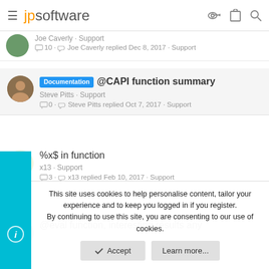jpsoftware
Joe Caverly · Support
💬 10 · ↩ Joe Caverly replied Dec 8, 2017 · Support
Documentation @CAPI function summary
Steve Pitts · Support
💬 0 · ↩ Steve Pitts replied Oct 7, 2017 · Support
%x$ in function
x13 · Support
💬 3 · ↩ x13 replied Feb 10, 2017 · Support
@eval function, interesting results any
This site uses cookies to help personalise content, tailor your experience and to keep you logged in if you register. By continuing to use this site, you are consenting to our use of cookies.